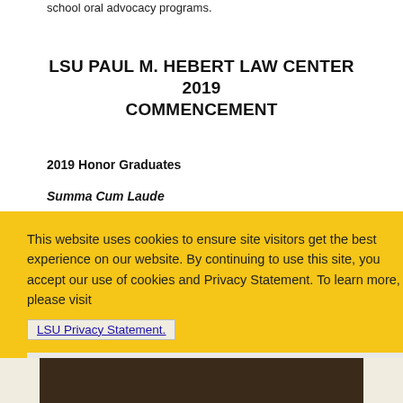school oral advocacy programs.
LSU PAUL M. HEBERT LAW CENTER 2019 COMMENCEMENT
2019 Honor Graduates
Summa Cum Laude
This website uses cookies to ensure site visitors get the best experience on our website. By continuing to use this site, you accept our use of cookies and Privacy Statement. To learn more, please visit LSU Privacy Statement.
I agree.
[Figure (photo): Bottom portion of a photograph showing commencement graduates in dark gowns]